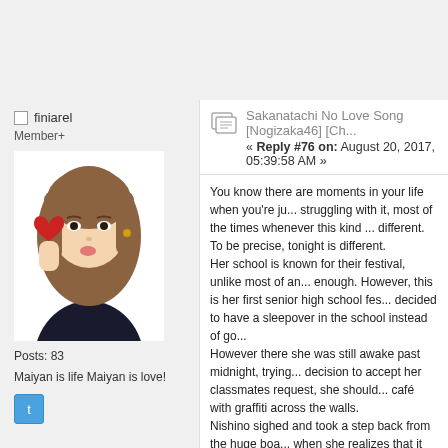finiarel
Member+
[Figure (photo): Profile avatar photo of a young woman with long brown hair holding a red heart shape near her face, wearing a dark top]
Posts: 83
Maiyan is life Maiyan is love!
[Figure (logo): Twitter/social media icon button in blue]
Sakanatachi No Love Song [Nogizaka46] [Ch...
« Reply #76 on: August 20, 2017, 05:39:58 AM »
You know there are moments in your life when you're ju... struggling with it, most of the times whenever this kind ... different. To be precise, tonight is different.
Her school is known for their festival, unlike most of an... enough. However, this is her first senior high school fes... decided to have a sleepover in the school instead of go...
However there she was still awake past midnight, trying... decision to accept her classmates request, she should... café with graffiti across the walls.
Nishino sighed and took a step back from the huge boa... when she realizes that it doesn't look as good as she h... in mind.